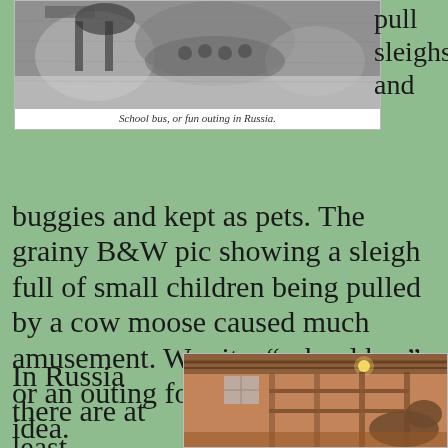[Figure (photo): Grainy black and white photograph of a moose pulling a sleigh full of small children in Russia]
School bus, or fun outing in Russia.
pull sleighs and buggies and kept as pets. The grainy B&W pic showing a sleigh full of small children being pulled by a cow moose caused much amusement. Was it a “school bus” or an outing for fun? I have no idea.
In Russia there are at least
[Figure (photo): Color photograph of a moose inside a wooden barn or stable structure]